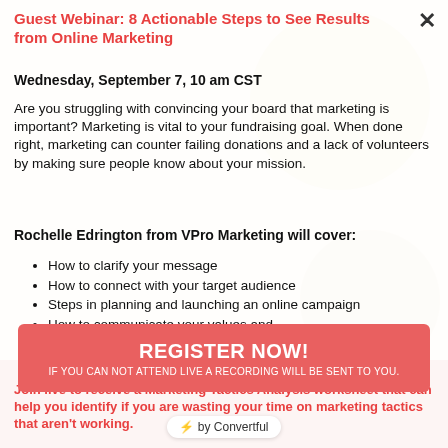Guest Webinar: 8 Actionable Steps to See Results from Online Marketing
Wednesday, September 7, 10 am CST
Are you struggling with convincing your board that marketing is important? Marketing is vital to your fundraising goal. When done right, marketing can counter failing donations and a lack of volunteers by making sure people know about your mission.
Rochelle Edrington from VPro Marketing will cover:
How to clarify your message
How to connect with your target audience
Steps in planning and launching an online campaign
How to communicate your values and
Much, much, more.
Join live to receive a Marketing Tactics Analysis worksheet that can help you identify if you are wasting your time on marketing tactics that aren't working.
REGISTER NOW!
IF YOU CAN NOT ATTEND LIVE A RECORDING WILL BE SENT TO YOU.
by Convertful